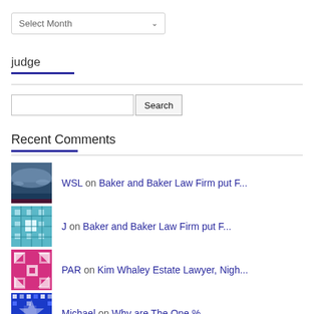[Figure (screenshot): Select Month dropdown widget]
judge
[Figure (screenshot): Search input field with Search button]
Recent Comments
WSL on Baker and Baker Law Firm put F...
J on Baker and Baker Law Firm put F...
PAR on Kim Whaley Estate Lawyer, Nigh...
Michael on Why are The One %
Michael on Why Trump Really Won